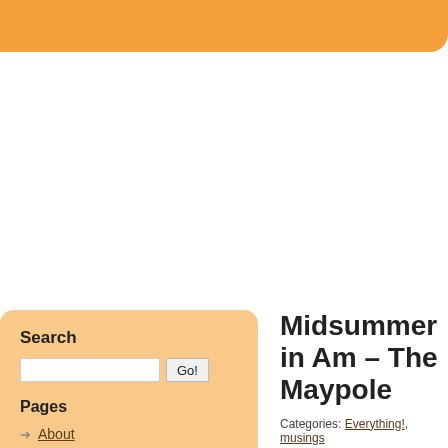Search
Go!
Pages
About
Hunter's Star
Our House
Midsummer in Am – The Maypole
Categories: Everything!, musings Comments: 2
The Maypole!